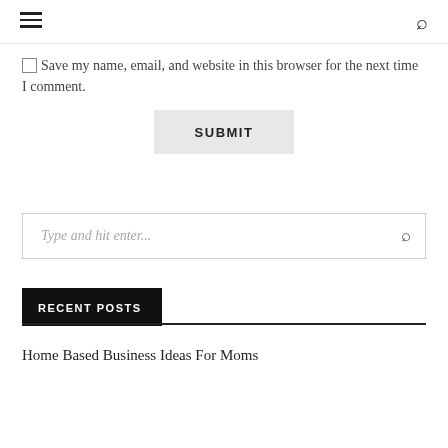≡ [hamburger menu] [search icon]
☐ Save my name, email, and website in this browser for the next time I comment.
SUBMIT
Type and hit enter...
RECENT POSTS
Home Based Business Ideas For Moms